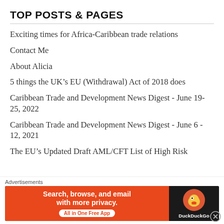TOP POSTS & PAGES
Exciting times for Africa-Caribbean trade relations
Contact Me
About Alicia
5 things the UK’s EU (Withdrawal) Act of 2018 does
Caribbean Trade and Development News Digest - June 19-25, 2022
Caribbean Trade and Development News Digest - June 6 - 12, 2021
The EU’s Updated Draft AML/CFT List of High Risk
Advertisements
[Figure (other): DuckDuckGo advertisement banner: orange background with text 'Search, browse, and email with more privacy.' and 'All in One Free App', alongside DuckDuckGo logo on dark background]